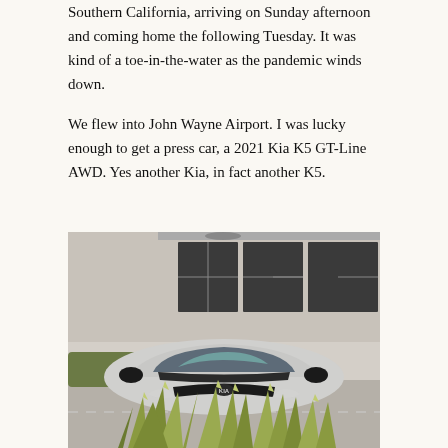Southern California, arriving on Sunday afternoon and coming home the following Tuesday. It was kind of a toe-in-the-water as the pandemic winds down.
We flew into John Wayne Airport. I was lucky enough to get a press car, a 2021 Kia K5 GT-Line AWD. Yes another Kia, in fact another K5.
[Figure (photo): Front view of a silver 2021 Kia K5 GT-Line AWD parked in front of a building with large windows, with agave plants in the foreground.]